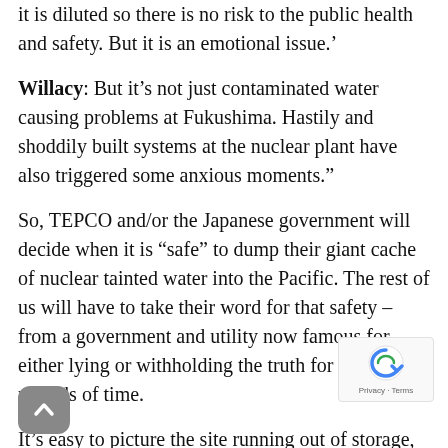it is diluted so there is no risk to the public health and safety. But it is an emotional issue.'
Willacy: But it's not just contaminated water causing problems at Fukushima. Hastily and shoddily built systems at the nuclear plant have also triggered some anxious moments."
So, TEPCO and/or the Japanese government will decide when it is “safe” to dump their giant cache of nuclear tainted water into the Pacific. The rest of us will have to take their word for that safety – from a government and utility now famous for either lying or withholding the truth for long periods of time.
It’s easy to picture the site running out of storage, and a “necessary” decision being made